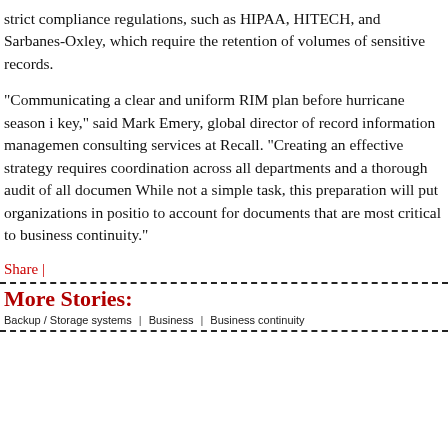strict compliance regulations, such as HIPAA, HITECH, and Sarbanes-Oxley, which require the retention of volumes of sensitive records.
“Communicating a clear and uniform RIM plan before hurricane season is key,” said Mark Emery, global director of record information management consulting services at Recall. “Creating an effective strategy requires coordination across all departments and a thorough audit of all documents. While not a simple task, this preparation will put organizations in position to account for documents that are most critical to business continuity.”
Share |
More Stories:
Backup / Storage systems | Business | Business continuity